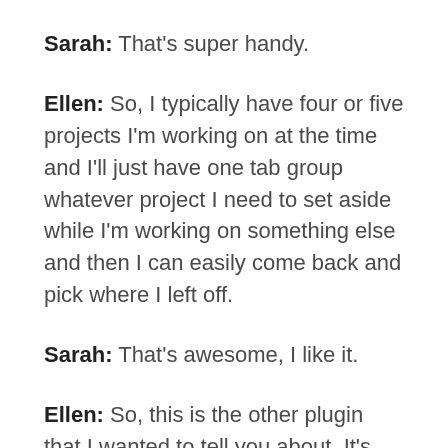Sarah: That’s super handy.
Ellen: So, I typically have four or five projects I’m working on at the time and I’ll just have one tab group whatever project I need to set aside while I’m working on something else and then I can easily come back and pick where I left off.
Sarah: That’s awesome, I like it.
Ellen: So, this is the other plugin that I wanted to tell you about. It’s called the PDF Embedder Premium and there’s a secure version and just the regular version. We use the secure version and we actually provide this free to our clients cause we’re developer so if they’re on a course